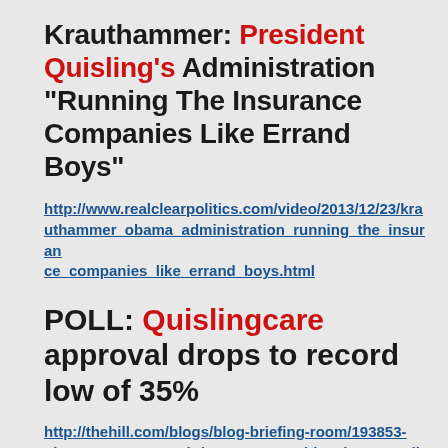Krauthammer: President Quisling's Administration "Running The Insurance Companies Like Errand Boys"
http://www.realclearpolitics.com/video/2013/12/23/krauthammer_obama_administration_running_the_insurance_companies_like_errand_boys.html
POLL: Quislingcare approval drops to record low of 35%
http://thehill.com/blogs/blog-briefing-room/193853-obamacare-approval-drops-to-record-low-in-cnn-poll
Constantly moving goal posts would